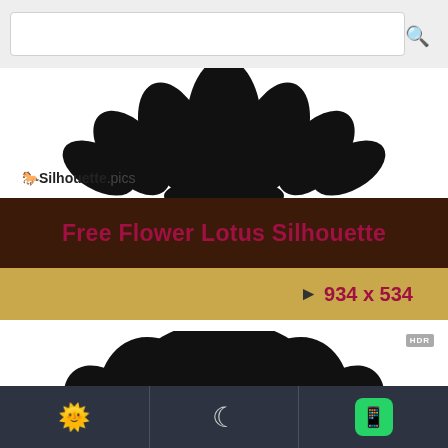[Figure (screenshot): Search bar with magnifying glass icon on light gray background]
[Figure (illustration): Black lotus flower silhouette (top half visible) on white background]
Silhouette.pics
Free Flower Lotus Silhouette
▶ 934 x 534
[Figure (illustration): HDR badge in gray, and black lotus flower silhouette on white background]
[Figure (screenshot): Bottom navigation bar with sun emoji, crescent moon icon, and WhatsApp icon]